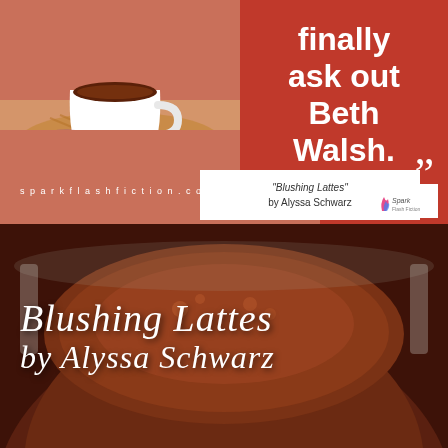[Figure (photo): Top promotional graphic with red background, coffee photo top-left, large bold white quote text top-right reading 'finally ask out Beth Walsh.', attribution box reading '"Blushing Lattes" by Alyssa Schwarz', website URL 'sparkflashfiction.com', Spark logo bottom-right]
Blushing Lattes
by Alyssa Schwarz
[Figure (photo): Close-up overhead photo of a dark chocolate latte in a white cup on a textured brown surface, serving as background for the bottom half title card]